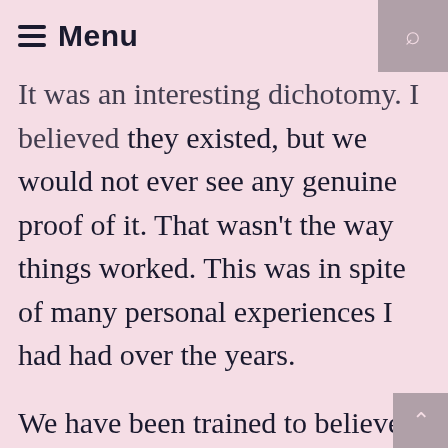≡ Menu
It was an interesting dichotomy. I believed they existed, but we would not ever see any genuine proof of it. That wasn't the way things worked. This was in spite of many personal experiences I had had over the years.
We have been trained to believe that psychic abilities don't exist and the paranormal is made up. We scoff at those in past times who used to worship gods and believe in such things as witches, demons, angels, and so on.